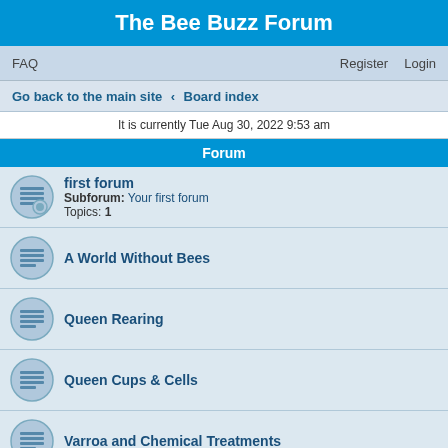The Bee Buzz Forum
FAQ    Register    Login
Go back to the main site ‹ Board index
It is currently Tue Aug 30, 2022 9:53 am
Forum
first forum — Subforum: Your first forum — Topics: 1
A World Without Bees
Queen Rearing
Queen Cups & Cells
Varroa and Chemical Treatments
Chalk and Foul Brood
Comb Changing